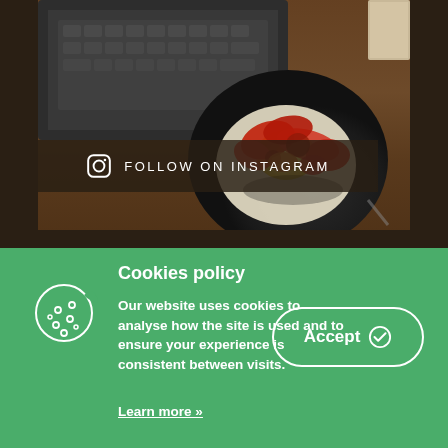[Figure (photo): Food photo showing a black plate with cooked egg topped with red peppers and vegetables, next to a laptop keyboard on a wooden table. Semi-transparent dark overlay banner shows 'FOLLOW ON INSTAGRAM' with Instagram icon.]
FOLLOW ON INSTAGRAM
Cookies policy
Our website uses cookies to analyse how the site is used and to ensure your experience is consistent between visits.
Learn more »
Accept